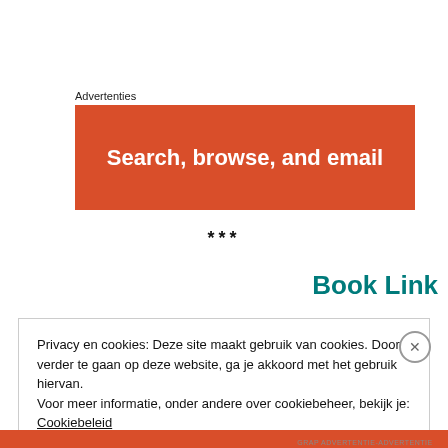Advertenties
[Figure (illustration): Orange advertisement banner with white bold text: 'Search, browse, and email']
***
Book Link
Privacy en cookies: Deze site maakt gebruik van cookies. Door verder te gaan op deze website, ga je akkoord met het gebruik hiervan. Voor meer informatie, onder andere over cookiebeheer, bekijk je: Cookiebeleid
Sluiten en bevestigen